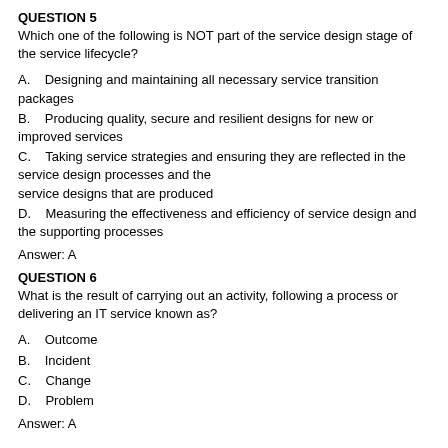QUESTION 5
Which one of the following is NOT part of the service design stage of the service lifecycle?
A.    Designing and maintaining all necessary service transition packages
B.    Producing quality, secure and resilient designs for new or improved services
C.    Taking service strategies and ensuring they are reflected in the service design processes and the service designs that are produced
D.    Measuring the effectiveness and efficiency of service design and the supporting processes
Answer: A
QUESTION 6
What is the result of carrying out an activity, following a process or delivering an IT service known as?
A.    Outcome
B.    Incident
C.    Change
D.    Problem
Answer: A